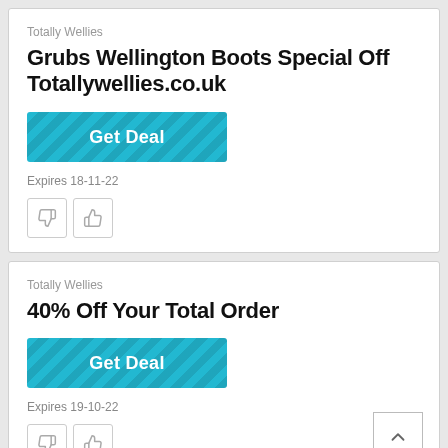Totally Wellies
Grubs Wellington Boots Special Off Totallywellies.co.uk
[Figure (other): Teal striped 'Get Deal' button]
Expires 18-11-22
[Figure (other): Thumbs down and thumbs up icon buttons]
Totally Wellies
40% Off Your Total Order
[Figure (other): Teal striped 'Get Deal' button]
Expires 19-10-22
[Figure (other): Thumbs down and thumbs up icon buttons]
[Figure (other): Scroll-to-top arrow button]